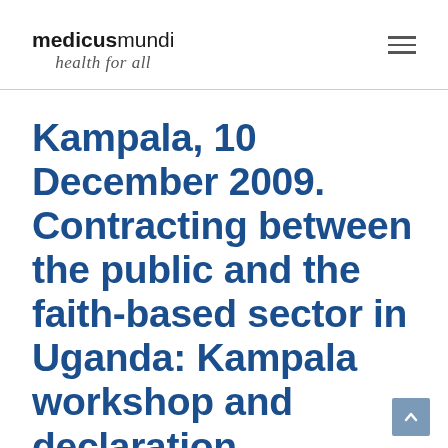medicus mundi — health for all
Kampala, 10 December 2009. Contracting between the public and the faith-based sector in Uganda: Kampala workshop and declaration